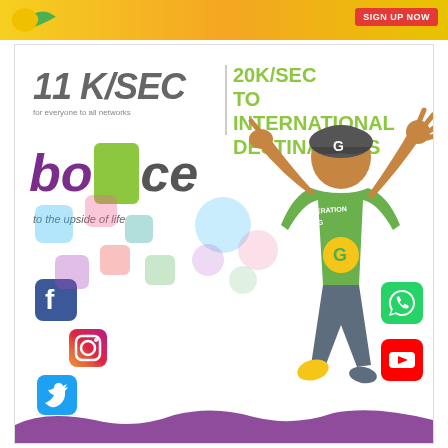[Figure (infographic): Top yellow/gold banner with green swoosh logo on left and red button on right]
[Figure (infographic): Telecom advertisement showing '11K/SEC for everyone to all networks' and '20K/SEC TO INTERNATIONAL DESTINATIONS' with 'bounce to the upside of life' branding. Features a young man in green shirt jumping with social media icons (Facebook, Instagram, Twitter, WhatsApp, YouTube) around him. Generation G branding visible.]